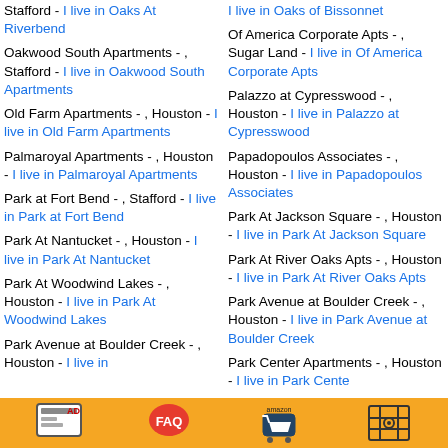Stafford - I live in Oaks At Riverbend
I live in Oaks of Bissonnet
Oakwood South Apartments - , Stafford - I live in Oakwood South Apartments
Of America Corporate Apts - , Sugar Land - I live in Of America Corporate Apts
Old Farm Apartments - , Houston - I live in Old Farm Apartments
Palazzo at Cypresswood - , Houston - I live in Palazzo at Cypresswood
Palmaroyal Apartments - , Houston - I live in Palmaroyal Apartments
Papadopoulos Associates - , Houston - I live in Papadopoulos Associates
Park at Fort Bend - , Stafford - I live in Park at Fort Bend
Park At Jackson Square - , Houston - I live in Park At Jackson Square
Park At Nantucket - , Houston - I live in Park At Nantucket
Park At River Oaks Apts - , Houston - I live in Park At River Oaks Apts
Park At Woodwind Lakes - , Houston - I live in Park At Woodwind Lakes
Park Avenue at Boulder Creek - , Houston - I live in Park Avenue at Boulder Creek
Park Avenue at Boulder Creek - , Houston - I live in
Park Center Apartments - , Houston - I live in Park Center
[Figure (infographic): Advertisement toolbar with four icons on an orange/yellow background: AD icon, FAQ speech bubble icon, Amazon shopping cart icon, and a grid/target icon.]